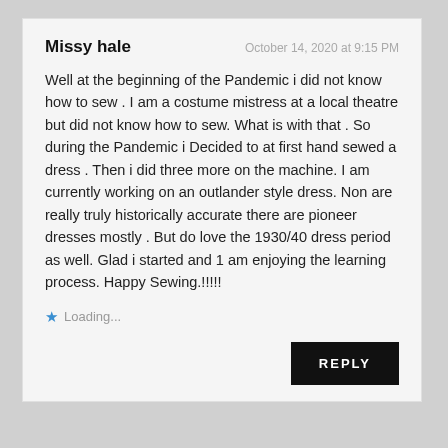Missy hale
October 14, 2020 at 9:15 PM
Well at the beginning of the Pandemic i did not know how to sew . I am a costume mistress at a local theatre but did not know how to sew. What is with that . So during the Pandemic i Decided to at first hand sewed a dress . Then i did three more on the machine. I am currently working on an outlander style dress. Non are really truly historically accurate there are pioneer dresses mostly . But do love the 1930/40 dress period as well. Glad i started and 1 am enjoying the learning process. Happy Sewing.!!!!!
Loading...
REPLY